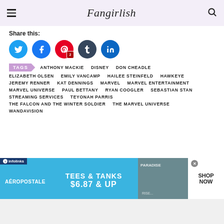Fangirlish
Share this:
[Figure (infographic): Social share buttons: Twitter (blue), Facebook (blue), Pinterest (red, badge 2), Tumblr (dark), LinkedIn (blue)]
TAGS  ANTHONY MACKIE  DISNEY  DON CHEADLE  ELIZABETH OLSEN  EMILY VANCAMP  HAILEE STEINFELD  HAWKEYE  JEREMY RENNER  KAT DENNINGS  MARVEL  MARVEL ENTERTAINMENT  MARVEL UNIVERSE  PAUL BETTANY  RYAN COOGLER  SEBASTIAN STAN  STREAMING SERVICES  TEYONAH PARRIS  THE FALCON AND THE WINTER SOLDIER  THE MARVEL UNIVERSE  WANDAVISION
[Figure (infographic): Aeropostale advertisement banner: TEES & TANKS $6.87 & UP, SHOP NOW button, infolinks badge]